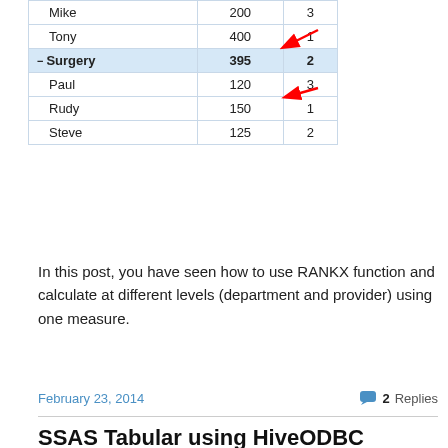[Figure (screenshot): Partial screenshot of a data table showing department/provider rows with columns for name, a numeric value, and rank. Surgery group row highlighted in blue showing 395 and rank 2, with red arrows pointing to it. Rows: Mike 200 3, Tony 400 1, Surgery 395 2 (highlighted), Paul 120 3, Rudy 150 1, Steve 125 2.]
In this post, you have seen how to use RANKX function and calculate at different levels (department and provider) using one measure.
February 23, 2014    2 Replies
SSAS Tabular using HiveODBC connection